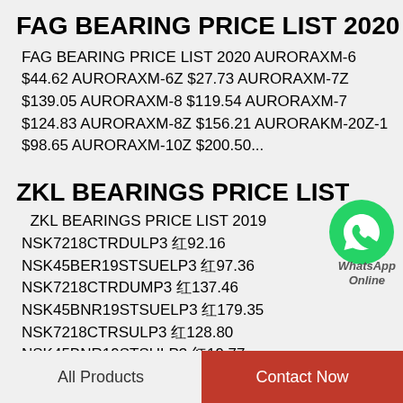FAG BEARING PRICE LIST 2020
FAG BEARING PRICE LIST 2020 AURORAXM-6 $44.62 AURORAXM-6Z $27.73 AURORAXM-7Z $139.05 AURORAXM-8 $119.54 AURORAXM-7 $124.83 AURORAXM-8Z $156.21 AURORAKM-20Z-1 $98.65 AURORAXM-10Z $200.50...
ZKL BEARINGS PRICE LIST 2019
ZKL BEARINGS PRICE LIST 2019 NSK7218CTRDULP3 ￥92.16 NSK45BER19STSUELP3 ￥97.36 NSK7218CTRDUMP3 ￥137.46 NSK45BNR19STSUELP3 ￥179.35 NSK7218CTRSULP3 ￥128.80 NSK45BNR19STSULP3 ￥19.77 NSK7218CTRSUMP3 ￥193.04...
[Figure (logo): WhatsApp green circle logo with phone icon, with 'WhatsApp Online' text below]
All Products    Contact Now